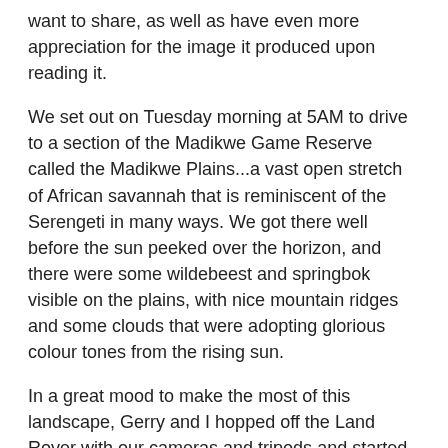want to share, as well as have even more appreciation for the image it produced upon reading it.
We set out on Tuesday morning at 5AM to drive to a section of the Madikwe Game Reserve called the Madikwe Plains...a vast open stretch of African savannah that is reminiscent of the Serengeti in many ways. We got there well before the sun peeked over the horizon, and there were some wildebeest and springbok visible on the plains, with nice mountain ridges and some clouds that were adopting glorious colour tones from the rising sun.
In a great mood to make the most of this landscape, Gerry and I hopped off the Land Rover with our cameras and tripods and started setting up in front of the Landy in the dirt road, looking to the West to capture the colours of the sunrise on the plains. All of a sudden my darling wife asked: "What's that in the road?"
When I turned my head, a cold shudder ran down my spine and tingled in the tips of my toes...even though the sun hadn't completely risen, the shape that was lying about 20